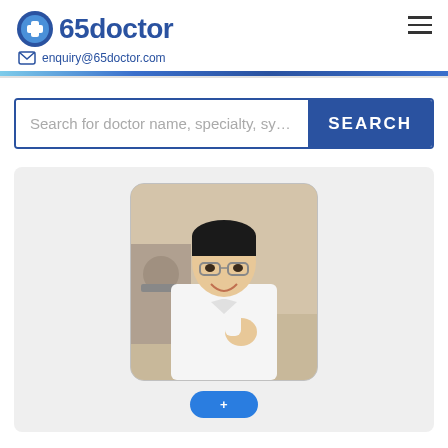+65doctor  enquiry@65doctor.com
Search for doctor name, specialty, symptom
[Figure (screenshot): Doctor profile photo: Asian male doctor wearing glasses and white coat, smiling, with medical equipment in background]
SEARCH